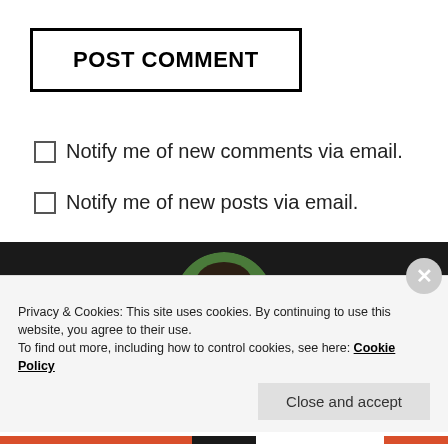POST COMMENT
Notify me of new comments via email.
Notify me of new posts via email.
[Figure (photo): Circular profile photo of a man, shown in a dark background section]
Privacy & Cookies: This site uses cookies. By continuing to use this website, you agree to their use.
To find out more, including how to control cookies, see here: Cookie Policy
Close and accept